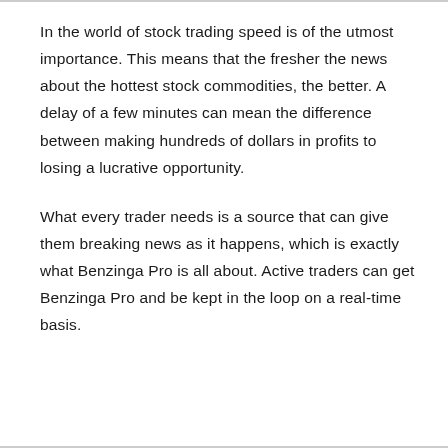In the world of stock trading speed is of the utmost importance. This means that the fresher the news about the hottest stock commodities, the better. A delay of a few minutes can mean the difference between making hundreds of dollars in profits to losing a lucrative opportunity.
What every trader needs is a source that can give them breaking news as it happens, which is exactly what Benzinga Pro is all about. Active traders can get Benzinga Pro and be kept in the loop on a real-time basis.